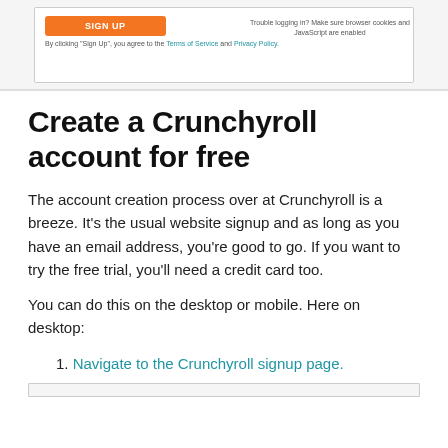[Figure (screenshot): Screenshot of Crunchyroll sign-up form with an orange Sign Up button and text 'By clicking Sign Up, you agree to the Terms of Service and Privacy Policy'. On the right side there is a note: 'Trouble logging in? Make sure browser cookies and JavaScript are enabled.']
Create a Crunchyroll account for free
The account creation process over at Crunchyroll is a breeze. It's the usual website signup and as long as you have an email address, you're good to go. If you want to try the free trial, you'll need a credit card too.
You can do this on the desktop or mobile. Here on desktop:
1. Navigate to the Crunchyroll signup page.